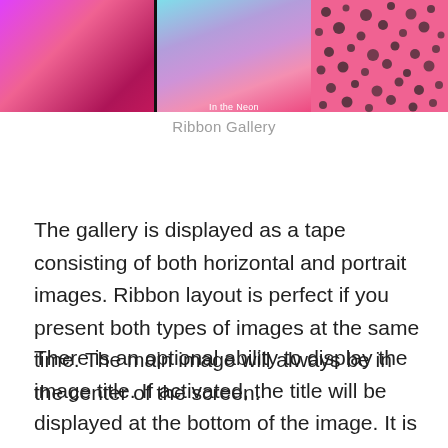[Figure (photo): Ribbon gallery showing three images side by side: a pink/magenta abstract image on the left, a blue/purple/pink gradient with feathers in the center labeled 'In the Neon', and a pink leopard print pattern on the right.]
Ribbon Gallery
The gallery is displayed as a tape consisting of both horizontal and portrait images. Ribbon layout is perfect if you present both types of images at the same time. The main image will always be in the center of the screen.
There is an optional ability to display the image title. If activated, the title will be displayed at the bottom of the image. It is possible to change its typography and color. For better compatibility with the design of